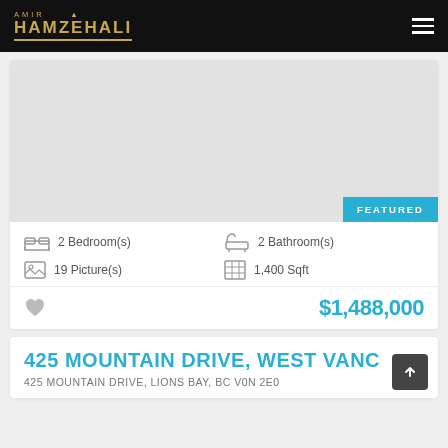AMIR HAMZEHALI
[Figure (photo): Property listing photo area (white/grey placeholder) with FEATURED badge in bottom right corner]
2 Bedroom(s)
2 Bathroom(s)
19 Picture(s)
1,400 Sqft
$1,488,000
425 MOUNTAIN DRIVE, WEST VANC
425 MOUNTAIN DRIVE, Lions Bay, BC V0N 2E0